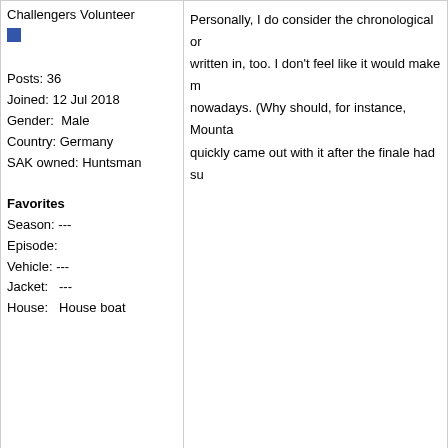Challengers Volunteer
Posts: 36
Joined: 12 Jul 2018
Gender: Male
Country: Germany
SAK owned: Huntsman

Favorites
Season: ---
Episode:
Vehicle: ---
Jacket: ---
House: House boat
Personally, I do consider the chronological or... written in, too. I don't feel like it would make m... nowadays. (Why should, for instance, Mounta... quickly came out with it after the finale had su...
PM  Email  WWW
CHEVIGNON
Posted: 22 September 2021 - 08:32 AM
[Figure (photo): Profile photo of a man in a brown jacket]
Challengers Volunteer
Posts: 32
I have to agree also on keeping the original fi... fan can decide to watch it that way with the lis... and last season episode are always an event... the same for the last season episode. So, you... another series that barely involve our main ch... MacGyver logo should be restored to it's origi... was just plain executive stupidity and that The...